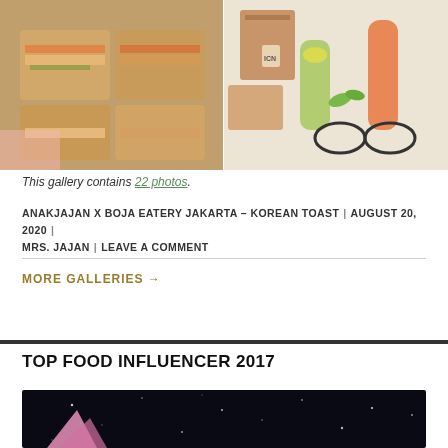[Figure (photo): Two food photos side by side: left shows Korean toast sandwiches in a container, right shows packaged drinks and beverages with ICN branding and glasses]
This gallery contains 22 photos.
ANAKJAJAN X BOJA EATERY JAKARTA – KOREAN TOAST | AUGUST 20, 2020 | MRS. JAJAN | LEAVE A COMMENT
MORE GALLERIES →
TOP FOOD INFLUENCER 2017
[Figure (photo): Dark background with sparkles/stars, appears to be an event or award ceremony image with a pink geometric shape visible]